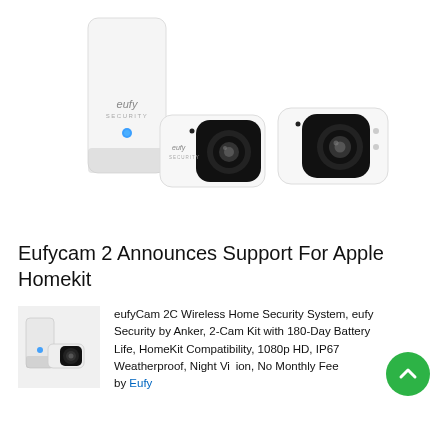[Figure (photo): Product photo of eufy Security EufyCam 2 system: a white rectangular HomeBase hub with blue LED and two white wireless security cameras with wide-angle black lenses, on a white background]
Eufycam 2 Announces Support For Apple Homekit
[Figure (photo): Smaller thumbnail photo of eufy Security camera system]
eufyCam 2C Wireless Home Security System, eufy Security by Anker, 2-Cam Kit with 180-Day Battery Life, HomeKit Compatibility, 1080p HD, IP67 Weatherproof, Night Vision, No Monthly Fee
by Eufy